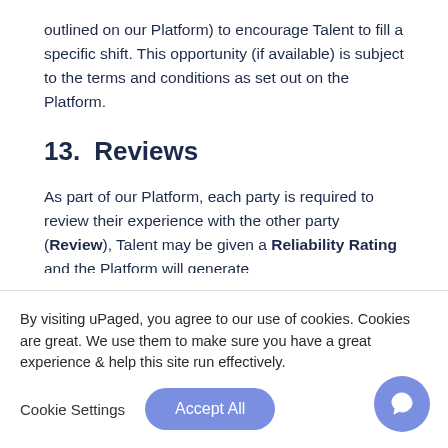outlined on our Platform) to encourage Talent to fill a specific shift. This opportunity (if available) is subject to the terms and conditions as set out on the Platform.
13.   Reviews
As part of our Platform, each party is required to review their experience with the other party (Review), Talent may be given a Reliability Rating and the Platform will generate
By visiting uPaged, you agree to our use of cookies. Cookies are great. We use them to make sure you have a great experience & help this site run effectively.
Cookie Settings   Accept All